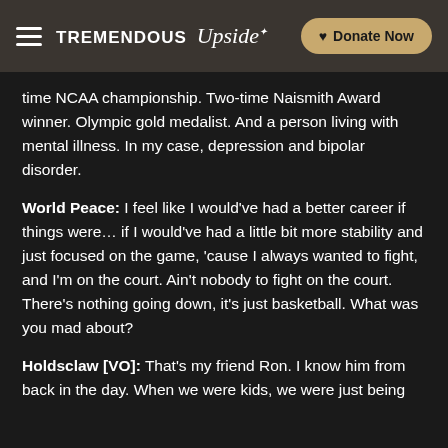TREMENDOUS Upside | Donate Now
time NCAA championship. Two-time Naismith Award winner. Olympic gold medalist. And a person living with mental illness. In my case, depression and bipolar disorder.
World Peace: I feel like I would've had a better career if things were… if I would've had a little bit more stability and just focused on the game, 'cause I always wanted to fight, and I'm on the court. Ain't nobody to fight on the court. There's nothing going down, it's just basketball. What was you mad about?
Holdsclaw [VO]: That's my friend Ron. I know him from back in the day. When we were kids, we were just being